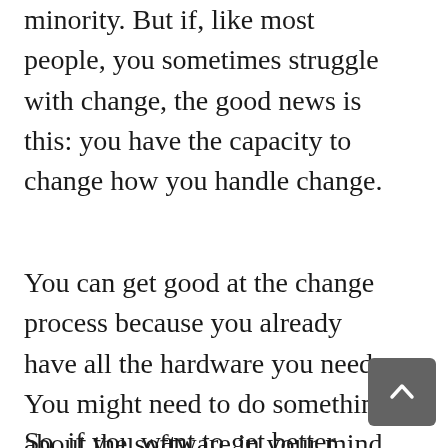minority. But if, like most people, you sometimes struggle with change, the good news is this: you have the capacity to change how you handle change.
You can get good at the change process because you already have all the hardware you need. You might need to do something about the software in your mind, but that is something you can learn.
So, if you want to get better